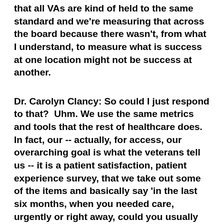that all VAs are kind of held to the same standard and we're measuring that across the board because there wasn't, from what I understand, to measure what is success at one location might not be success at another.
Dr. Carolyn Clancy: So could I just respond to that?  Uhm. We use the same metrics and tools that the rest of healthcare does.  In fact, our -- actually, for access, our overarching goal is what the veterans tell us -- it is a patient satisfaction, patient experience survey, that we take out some of the items and basically say 'in the last six months, when you needed care, urgently or right away, could you usually or always get it?'  Same thing for routine care and we break that up by primary care and specialty care and so forth.  But that is the goal rather than wait times which can mean a whole lot of different things and different circumstances. The question of how do...